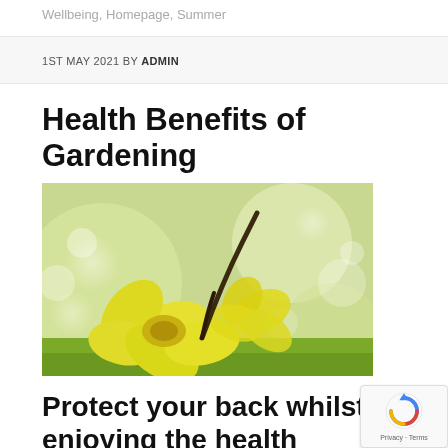Wellbeing, Homepage, Summer
1ST MAY 2021 BY ADMIN
Health Benefits of Gardening
[Figure (photo): Close-up photograph of yellow daffodil/narcissus flowers with a blurred green and white bokeh background]
Protect your back whilst enjoying the health